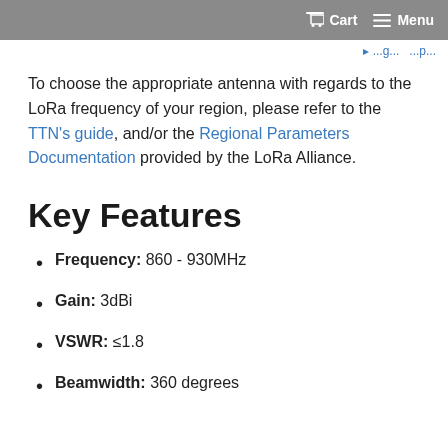Cart  Menu
To choose the appropriate antenna with regards to the LoRa frequency of your region, please refer to the TTN's guide, and/or the Regional Parameters Documentation provided by the LoRa Alliance.
Key Features
Frequency: 860 - 930MHz
Gain: 3dBi
VSWR: ≤1.8
Beamwidth: 360 degrees